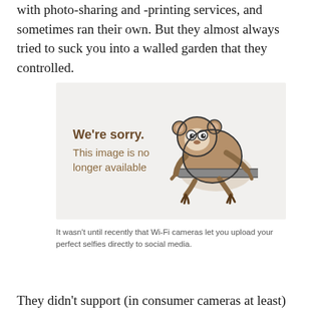with photo-sharing and -printing services, and sometimes ran their own. But they almost always tried to suck you into a walled garden that they controlled.
[Figure (illustration): A placeholder image showing a cartoon sloth hanging on a bar, with text 'We're sorry. This image is no longer available' on a light gray background.]
It wasn't until recently that Wi-Fi cameras let you upload your perfect selfies directly to social media.
They didn't support (in consumer cameras at least)